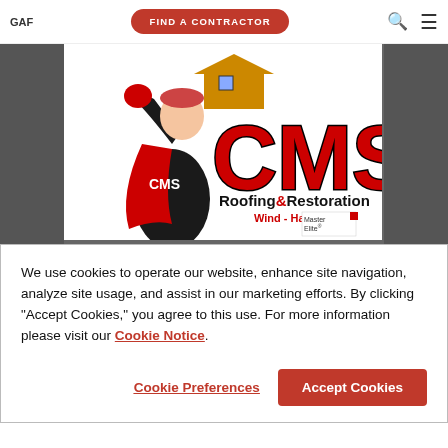GAF | FIND A CONTRACTOR
[Figure (logo): CMS Roofing & Restoration logo featuring a superhero character holding a house, with large red CMS letters and tagline 'Wind - Hail - Water'. Gray banner background with dark sidebar panels.]
Master Elite®
CMS Roofing LLC
We use cookies to operate our website, enhance site navigation, analyze site usage, and assist in our marketing efforts. By clicking "Accept Cookies," you agree to this use. For more information please visit our Cookie Notice.
Cookie Preferences | Accept Cookies